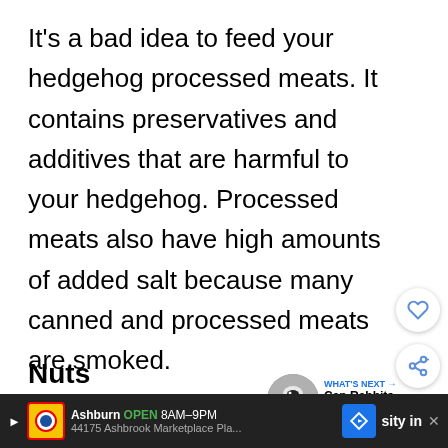It's a bad idea to feed your hedgehog processed meats. It contains preservatives and additives that are harmful to your hedgehog. Processed meats also have high amounts of added salt because many canned and processed meats are smoked.
Nuts
Nuts are not toxic to hedgehogs, but it is
[Figure (other): WHAT'S NEXT arrow button with circular thumbnail of rabbit and text 'Can Rabbits Eat Rice?...']
[Figure (other): Advertisement bar: Lidl store - Ashburn OPEN 8AM-9PM, 44175 Ashbrook Marketplace Pla... with navigation arrow icon and partial text 'sity in']